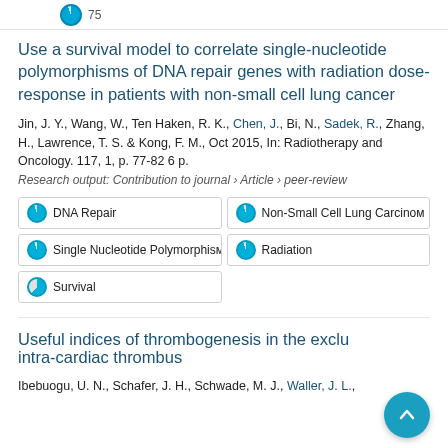Use a survival model to correlate single-nucleotide polymorphisms of DNA repair genes with radiation dose-response in patients with non-small cell lung cancer
Jin, J. Y., Wang, W., Ten Haken, R. K., Chen, J., Bi, N., Sadek, R., Zhang, H., Lawrence, T. S. & Kong, F. M., Oct 2015, In: Radiotherapy and Oncology. 117, 1, p. 77-82 6 p.
Research output: Contribution to journal › Article › peer-review
DNA Repair
Non-Small Cell Lung Carcinoma
Single Nucleotide Polymorphism
Radiation
Survival
Useful indices of thrombogenesis in the exclusion of intra-cardiac thrombus
Ibebuogu, U. N., Schafer, J. H., Schwade, M. J., Waller, J. L.,